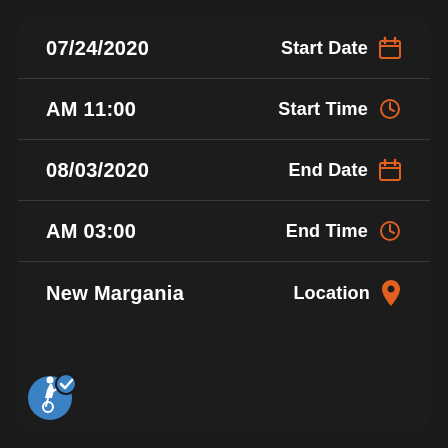07/24/2020 — Start Date
AM 11:00 — Start Time
08/03/2020 — End Date
AM 03:00 — End Time
New Margania — Location
[Figure (logo): Accessibility icon with blue circle, wheelchair symbol, and blue checkmark badge]